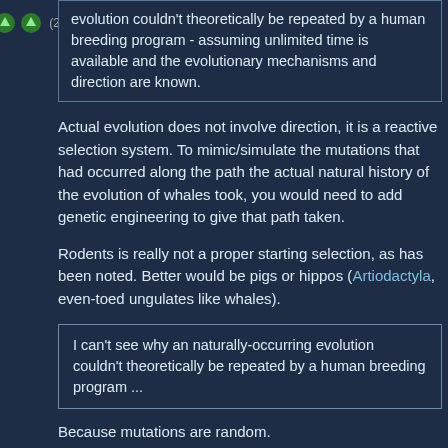[Figure (other): Two green upvote arrow buttons with vote count (2) in grey text]
evolution couldn't theoretically be repeated by a human breeding program - assuming unlimited time is available and the evolutionary mechanisms and direction are known.
Actual evolution does not involve direction, it is a reactive selection system. To mimic/simulate the mutations that had occurred along the path the actual natural history of the evolution of whales took, you would need to add genetic engineering to give that path taken.
Rodents is really not a proper starting selection, as has been noted. Better would be pigs or hippos (Artiodactyla, even-toed ungulates like whales).
I can't see why an naturally-occurring evolution couldn't theoretically be repeated by a human breeding program ...
Because mutations are random.